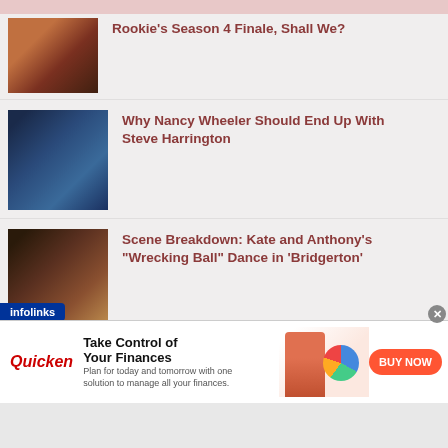Rookie's Season 4 Finale, Shall We?
Why Nancy Wheeler Should End Up With Steve Harrington
Scene Breakdown: Kate and Anthony's "Wrecking Ball" Dance in 'Bridgerton'
Why Granny's Final Words in 'Belfast' Mean So Much
[Figure (screenshot): Infolinks branded bar]
[Figure (infographic): Quicken advertisement banner with BUY NOW button]